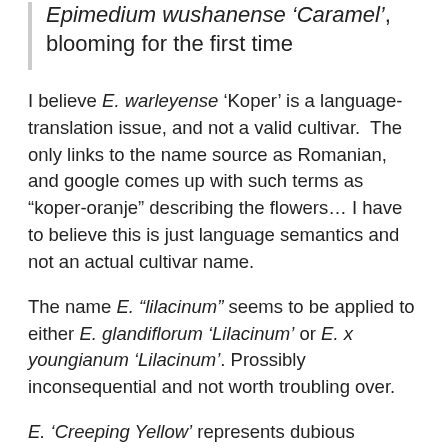Epimedium wushanense 'Caramel', blooming for the first time
I believe E. warleyense 'Koper' is a language-translation issue, and not a valid cultivar. The only links to the name source as Romanian, and google comes up with such terms as "koper-oranje" describing the flowers... I have to believe this is just language semantics and not an actual cultivar name.
The name E. "lilacinum" seems to be applied to either E. glandiflorum 'Lilacinum' or E. x youngianum 'Lilacinum'. Prossibly inconsequential and not worth troubling over.
E. 'Creeping Yellow' represents dubious marketing... the plant a rather mundane white-flowered plant, but "gets its name from foliage that is pale yellowish-green". It is reported to have "emerging leaves rimmed with copper and bronze and